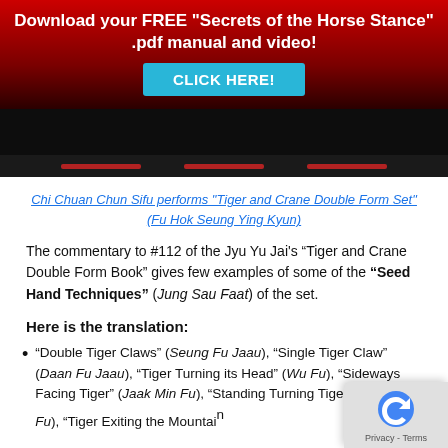Download your FREE "Secrets of the Horse Stance" .pdf manual and video! CLICK HERE!
[Figure (screenshot): Video player thumbnail with dark background and red progress bar markers]
Chi Chuan Chun Sifu performs "Tiger and Crane Double Form Set" (Fu Hok Seung Ying Kyun)
The commentary to #112 of the Jyu Yu Jai's “Tiger and Crane Double Form Book” gives few examples of some of the “Seed Hand Techniques” (Jung Sau Faat) of the set.
Here is the translation:
“Double Tiger Claws” (Seung Fu Jaau), “Single Tiger Claw” (Daan Fu Jaau), “Tiger Turning its Head” (Wu Fu), “Sideways Facing Tiger” (Jaak Min Fu), “Standing Turning Tiger” (Che Ma Fu), “Tiger Exiting the Mountain